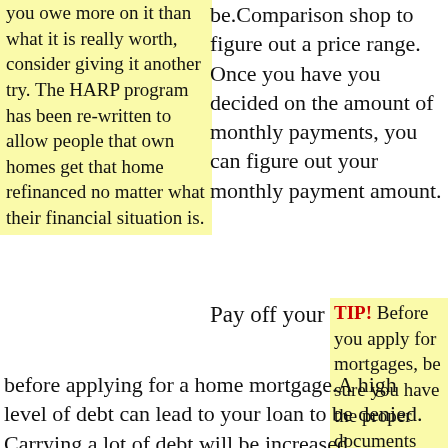you owe more on it than what it is really worth, consider giving it another try. The HARP program has been re-written to allow people that own homes get that home refinanced no matter what their financial situation is.
be.Comparison shop to figure out a price range. Once you have you decided on the amount of monthly payments, you can figure out your monthly payment amount.
Pay off your debts before applying for a home mortgage.A high level of debt can lead to your loan to be denied. Carrying a lot of debt will be increased.
TIP! Before you apply for mortgages, be sure you have the proper documents together. You will realize that every lender requires much the same documents